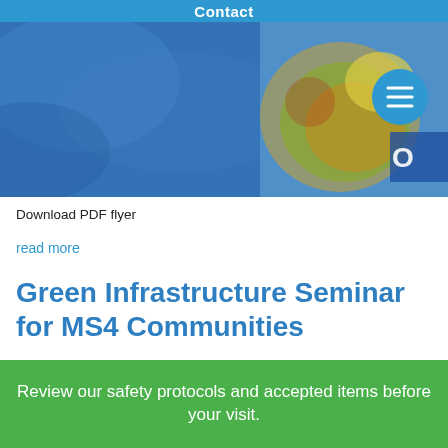Contact
[Figure (photo): Hero image showing water/blue textured background with partial view of colorful food plate and a circular menu button icon on the right side]
Download PDF flyer
read more
Green Infrastructure Seminar for MS4 Communities
4 years ago
Review our safety protocols and accepted items before your visit.